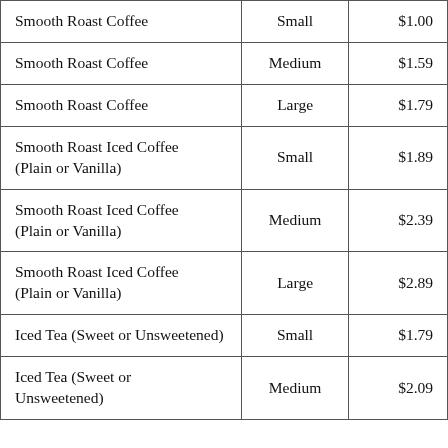| Smooth Roast Coffee | Small | $1.00 |
| Smooth Roast Coffee | Medium | $1.59 |
| Smooth Roast Coffee | Large | $1.79 |
| Smooth Roast Iced Coffee (Plain or Vanilla) | Small | $1.89 |
| Smooth Roast Iced Coffee (Plain or Vanilla) | Medium | $2.39 |
| Smooth Roast Iced Coffee (Plain or Vanilla) | Large | $2.89 |
| Iced Tea (Sweet or Unsweetened) | Small | $1.79 |
| Iced Tea (Sweet or Unsweetened) | Medium | $2.09 |